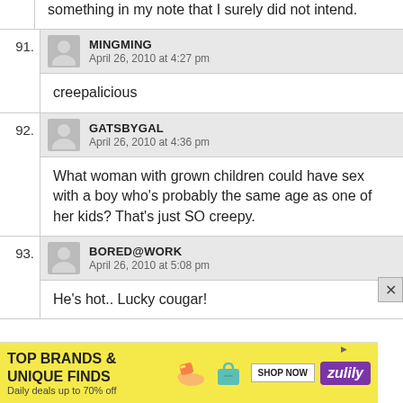something in my note that I surely did not intend.
91. MINGMING — April 26, 2010 at 4:27 pm — creepalicious
92. GATSBYGAL — April 26, 2010 at 4:36 pm — What woman with grown children could have sex with a boy who’s probably the same age as one of her kids? That’s just SO creepy.
93. BORED@WORK — April 26, 2010 at 5:08 pm — He’s hot.. Lucky cougar!
[Figure (infographic): Advertisement banner: TOP BRANDS & UNIQUE FINDS. Daily deals up to 70% off. SHOP NOW button. Zulily logo. Images of shoes and handbag.]